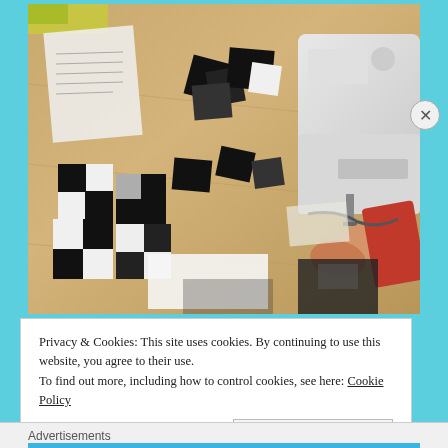[Figure (photo): A person sewing black and white fabric pieces at a sewing machine on a wooden table. Multiple stacked black and white fabric squares are arranged on the table. The person's hands are visible guiding fabric through the sewing machine.]
Privacy & Cookies: This site uses cookies. By continuing to use this website, you agree to their use.
To find out more, including how to control cookies, see here: Cookie Policy
Close and accept
Advertisements